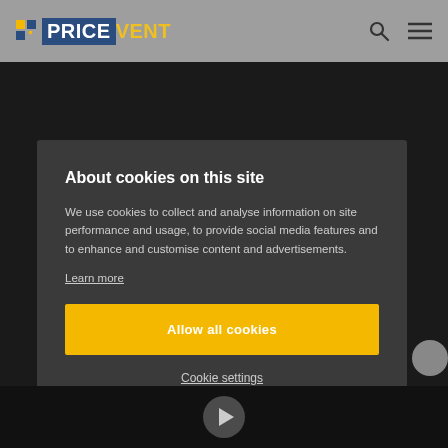PRICEVENT
About cookies on this site
We use cookies to collect and analyse information on site performance and usage, to provide social media features and to enhance and customise content and advertisements.
Learn more
Allow all cookies
Cookie settings